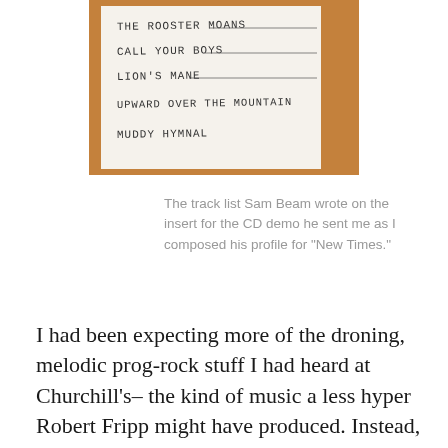[Figure (photo): A handwritten track list on a CD insert showing: THE ROOSTER MOANS, CALL YOUR BOYS, LION'S MANE, UPWARD OVER THE MOUNTAIN, MUDDY HYMNAL]
The track list Sam Beam wrote on the insert for the CD demo he sent me as I composed his profile for "New Times."
I had been expecting more of the droning, melodic prog-rock stuff I had heard at Churchill's– the kind of music a less hyper Robert Fripp might have produced. Instead, I heard this super chill singer-songwriter stuff with a country-fied twinge. I must admit, I was at first disappointed, my expectations being what they were. When I asked Beam about the music he had created with Barge, he told me the CD he gave me is what Sub Pop was planning to release. I proceeded with the story